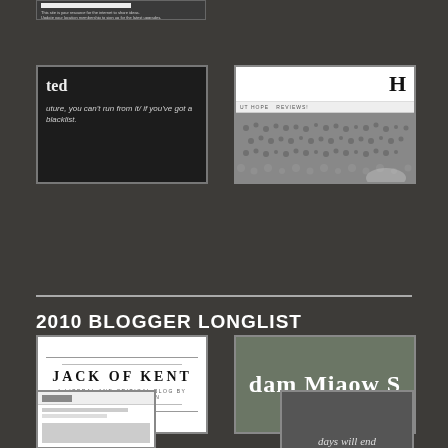[Figure (screenshot): Small dark website screenshot strip at top]
[Figure (screenshot): Dark blog screenshot showing text: 'ted' and 'uture, you can't run from it/ if you've got a blacklist.']
[Figure (screenshot): White blog screenshot with large H heading, 'UT HOPE  REVIEWS!' text and black-and-white crowd photo]
[Figure (screenshot): Jack of Kent blog logo: white background, 'JACK OF KENT' bold serif, 'A LIBERAL AND CRITICAL BLOG BY DAVID ALLEN GREEN' subtitle]
[Figure (screenshot): Dark greenish blog screenshot showing 'dam Miaow S' text in large serif font]
2010 BLOGGER LONGLIST
[Figure (screenshot): Small white website screenshot at bottom left]
[Figure (screenshot): Dark website screenshot at bottom right showing 'days will end' text]